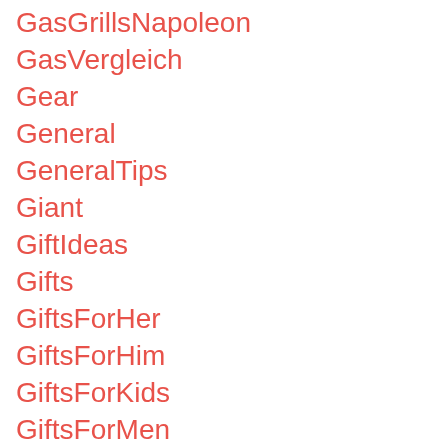GasGrillsNapoleon
GasVergleich
Gear
General
GeneralTips
Giant
GiftIdeas
Gifts
GiftsForHer
GiftsForHim
GiftsForKids
GiftsForMen
GiftsForMom
GIGAWorld
GlassCooktopPotsAndPans